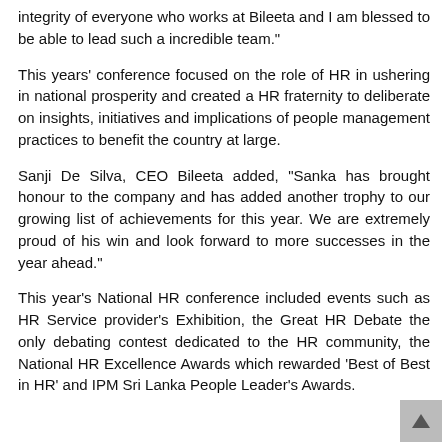integrity of everyone who works at Bileeta and I am blessed to be able to lead such a incredible team."
This years' conference focused on the role of HR in ushering in national prosperity and created a HR fraternity to deliberate on insights, initiatives and implications of people management practices to benefit the country at large.
Sanji De Silva, CEO Bileeta added, "Sanka has brought honour to the company and has added another trophy to our growing list of achievements for this year. We are extremely proud of his win and look forward to more successes in the year ahead."
This year's National HR conference included events such as HR Service provider's Exhibition, the Great HR Debate the only debating contest dedicated to the HR community, the National HR Excellence Awards which rewarded 'Best of Best in HR' and IPM Sri Lanka People Leader's Awards.